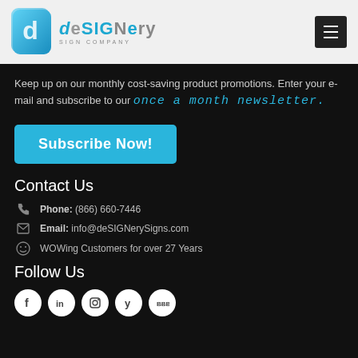deSIGNery SIGN COMPANY
Keep up on our monthly cost-saving product promotions. Enter your e-mail and subscribe to our once a month newsletter.
Subscribe Now!
Contact Us
Phone: (866) 660-7446
Email: info@deSIGNerySigns.com
WOWing Customers for over 27 Years
Follow Us
[Figure (other): Social media icons row: Facebook, LinkedIn, Instagram, Yelp, BBB]